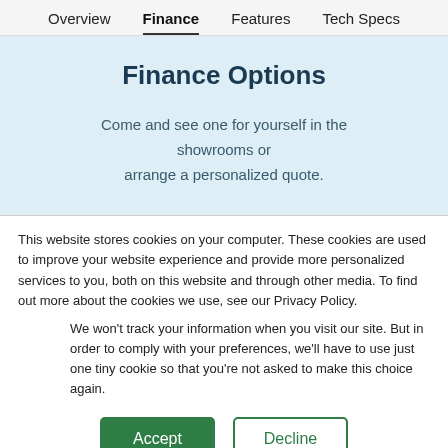Overview   Finance   Features   Tech Specs
Finance Options
Come and see one for yourself in the showrooms or arrange a personalized quote.
This website stores cookies on your computer. These cookies are used to improve your website experience and provide more personalized services to you, both on this website and through other media. To find out more about the cookies we use, see our Privacy Policy.
We won't track your information when you visit our site. But in order to comply with your preferences, we'll have to use just one tiny cookie so that you're not asked to make this choice again.
Accept   Decline